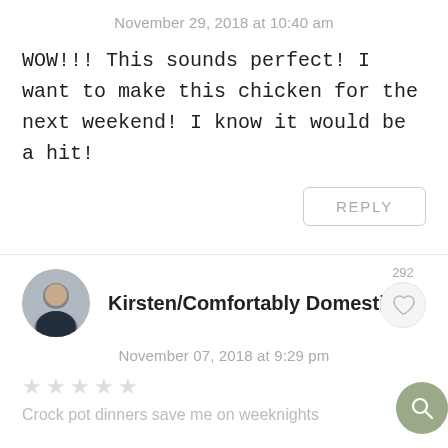November 29, 2018 at 10:40 am
WOW!!! This sounds perfect! I want to make this chicken for the next weekend! I know it would be a hit!
REPLY
Kirsten/Comfortably Domestic
292
November 07, 2018 at 9:29 pm
★★★★★
Crock pot dinners save me on weeknights